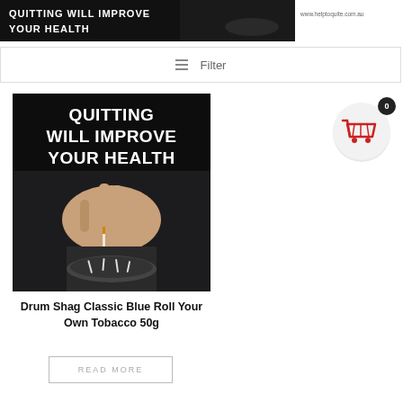[Figure (photo): Health warning banner showing 'YOUR HEALTH' text over cigarette ashtray image with URL www.helptoquite.com.au]
≡ Filter
[Figure (photo): Product image with health warning text 'QUITTING WILL IMPROVE YOUR HEALTH' over dark background image of hand stubbing cigarette in ashtray]
[Figure (other): Shopping cart icon inside a circle with badge showing 0]
Drum Shag Classic Blue Roll Your Own Tobacco 50g
Read more